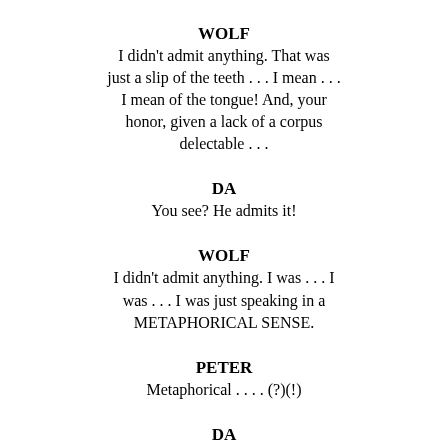WOLF
I didn't admit anything. That was just a slip of the teeth . . . I mean . . . I mean of the tongue! And, your honor, given a lack of a corpus delectable . . .
DA
You see? He admits it!
WOLF
I didn't admit anything. I was . . . I was . . . I was just speaking in a METAPHORICAL SENSE.
PETER
Metaphorical . . . . (?)(!)
DA
Metaphorical . . . . (?)(!)